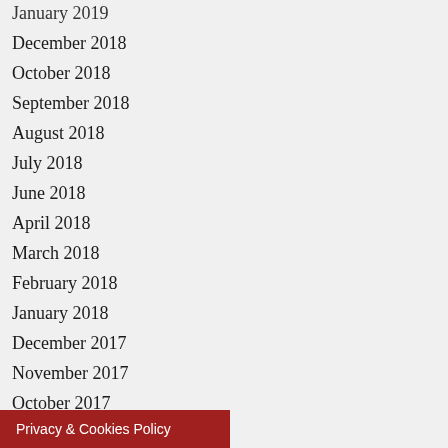January 2019
December 2018
October 2018
September 2018
August 2018
July 2018
June 2018
April 2018
March 2018
February 2018
January 2018
December 2017
November 2017
October 2017
September 2017
Privacy & Cookies Policy